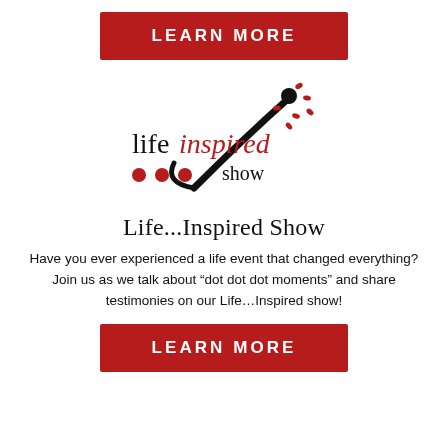[Figure (logo): Red button with white bold uppercase text 'LEARN MORE' on dark red background at top of page]
[Figure (logo): Life Inspired Show logo: black and red script text 'life inspired show' with three red dots, black swoosh figure with red dots scattering upward]
Life...Inspired Show
Have you ever experienced a life event that changed everything? Join us as we talk about “dot dot dot moments” and share testimonies on our Life…Inspired show!
[Figure (logo): Red button with white bold uppercase text 'LEARN MORE' on dark red background at bottom of page]